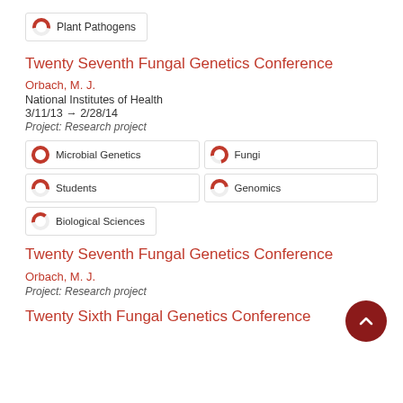[Figure (other): Tag badge with donut chart icon: Plant Pathogens (~55% filled)]
Twenty Seventh Fungal Genetics Conference
Orbach, M. J.
National Institutes of Health
3/11/13 → 2/28/14
Project: Research project
[Figure (other): Tag badge: Microbial Genetics (100% filled donut)]
[Figure (other): Tag badge: Fungi (~75% filled donut)]
[Figure (other): Tag badge: Students (~55% filled donut)]
[Figure (other): Tag badge: Genomics (~50% filled donut)]
[Figure (other): Tag badge: Biological Sciences (~40% filled donut)]
Twenty Seventh Fungal Genetics Conference
Orbach, M. J.
Project: Research project
Twenty Sixth Fungal Genetics Conference